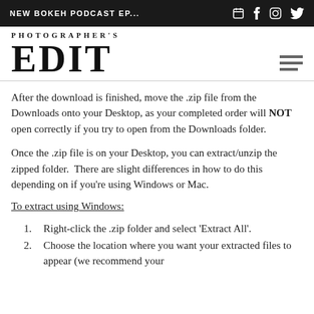NEW BOKEH PODCAST EP...
[Figure (logo): Photographer's Edit logo with hamburger menu icon]
After the download is finished, move the .zip file from the Downloads onto your Desktop, as your completed order will NOT open correctly if you try to open from the Downloads folder.
Once the .zip file is on your Desktop, you can extract/unzip the zipped folder.  There are slight differences in how to do this depending on if you're using Windows or Mac.
To extract using Windows:
Right-click the .zip folder and select 'Extract All'.
Choose the location where you want your extracted files to appear (we recommend your